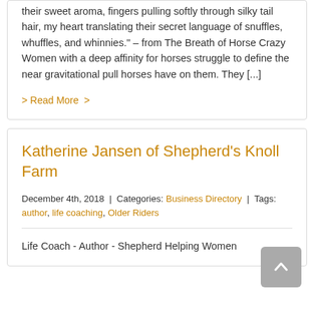their sweet aroma, fingers pulling softly through silky tail hair, my heart translating their secret language of snuffles, whuffles, and whinnies." – from The Breath of Horse Crazy Women with a deep affinity for horses struggle to define the near gravitational pull horses have on them. They [...]
> Read More >
Katherine Jansen of Shepherd's Knoll Farm
December 4th, 2018 | Categories: Business Directory | Tags: author, life coaching, Older Riders
Life Coach - Author - Shepherd Helping Women